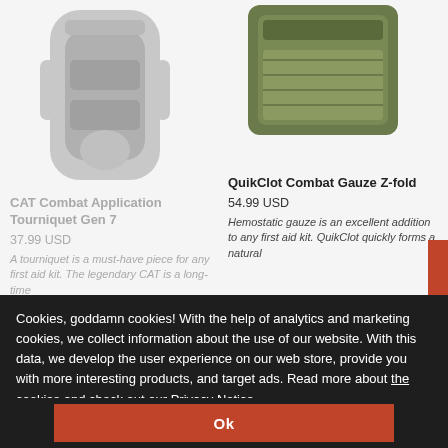[Figure (photo): Partial view of CAT Combat Application Tourniquet product image, greyed out]
[Figure (photo): Partial view of QuikClot Combat Gauze Z-fold product image, olive green color]
CAT Combat Application Tourniquet Gen 7
37.99 USD
A tourniquet is a must-have piece for any first aid kit. The legendary CAT is a long-time
QuikClot Combat Gauze Z-fold
54.99 USD
Hemostatic gauze is an excellent addition to any first aid kit. QuikClot quickly forms a natural
Cookies, goddamn cookies! With the help of analytics and marketing cookies, we collect information about the use of our website. With this data, we develop the user experience on our web store, provide you with more interesting products, and target ads. Read more about the cookies and check out our Privacy Notice.
Ok